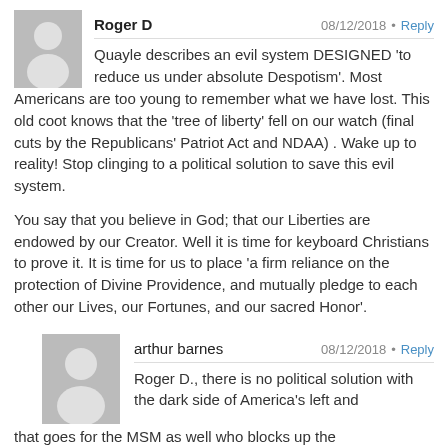[Figure (illustration): Gray placeholder avatar icon for user Roger D]
Roger D  08/12/2018 · Reply
Quayle describes an evil system DESIGNED 'to reduce us under absolute Despotism'. Most Americans are too young to remember what we have lost. This old coot knows that the 'tree of liberty' fell on our watch (final cuts by the Republicans' Patriot Act and NDAA) . Wake up to reality! Stop clinging to a political solution to save this evil system.
You say that you believe in God; that our Liberties are endowed by our Creator. Well it is time for keyboard Christians to prove it. It is time for us to place 'a firm reliance on the protection of Divine Providence, and mutually pledge to each other our Lives, our Fortunes, and our sacred Honor'.
[Figure (illustration): Gray placeholder avatar icon for user arthur barnes]
arthur barnes  08/12/2018 · Reply
Roger D., there is no political solution with the dark side of America's left and that goes for the MSM as well who blocks up the